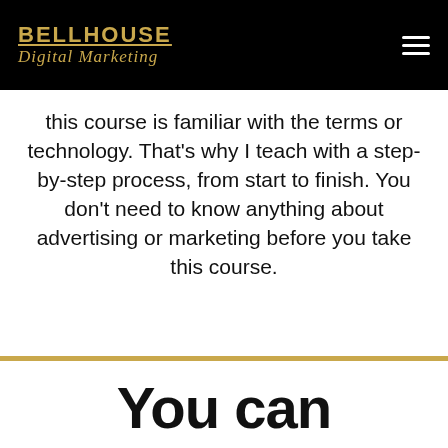BELLHOUSE Digital Marketing
this course is familiar with the terms or technology. That's why I teach with a step-by-step process, from start to finish. You don't need to know anything about advertising or marketing before you take this course.
You can